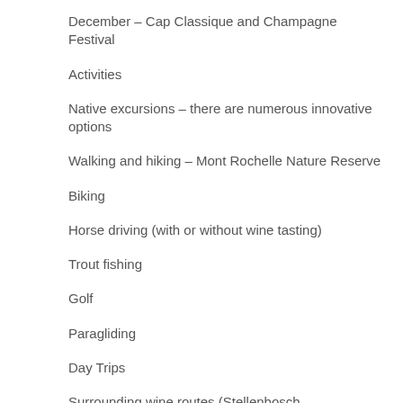December – Cap Classique and Champagne Festival
Activities
Native excursions – there are numerous innovative options
Walking and hiking – Mont Rochelle Nature Reserve
Biking
Horse driving (with or without wine tasting)
Trout fishing
Golf
Paragliding
Day Trips
Surrounding wine routes (Stellenbosch